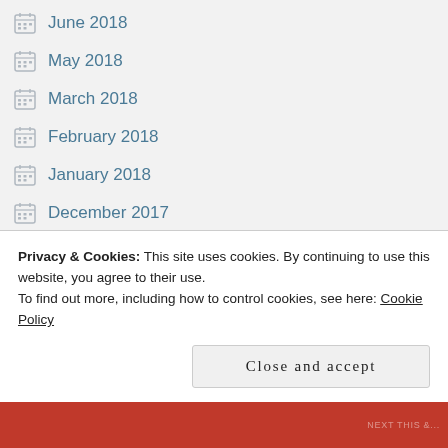June 2018
May 2018
March 2018
February 2018
January 2018
December 2017
November 2017
October 2017
August 2017
July 2017
Privacy & Cookies: This site uses cookies. By continuing to use this website, you agree to their use.
To find out more, including how to control cookies, see here: Cookie Policy
Close and accept